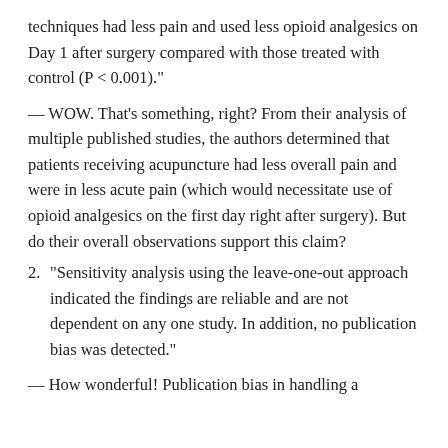techniques had less pain and used less opioid analgesics on Day 1 after surgery compared with those treated with control (P < 0.001)."
— WOW. That's something, right? From their analysis of multiple published studies, the authors determined that patients receiving acupuncture had less overall pain and were in less acute pain (which would necessitate use of opioid analgesics on the first day right after surgery). But do their overall observations support this claim?
2. "Sensitivity analysis using the leave-one-out approach indicated the findings are reliable and are not dependent on any one study. In addition, no publication bias was detected."
— How wonderful! Publication bias in handling a